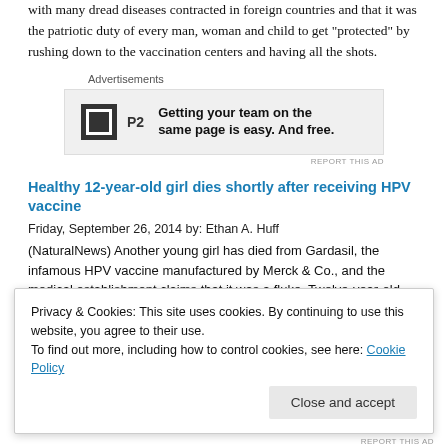with many dread diseases contracted in foreign countries and that it was the patriotic duty of every man, woman and child to get "protected" by rushing down to the vaccination centers and having all the shots.
[Figure (other): Advertisement banner: P2 logo with text 'Getting your team on the same page is easy. And free.']
Healthy 12-year-old girl dies shortly after receiving HPV vaccine
Friday, September 26, 2014 by: Ethan A. Huff
(NaturalNews) Another young girl has died from Gardasil, the infamous HPV vaccine manufactured by Merck & Co., and the medical establishment claims that it was a fluke. Twelve-year-old Meredith Prohaska from Waukesha, Wisconsin, died just a few hours after getting her Gardasil shot, and her parents are sure that the vaccine was the cause of death. According to FOX6Now.com, Meredith was an otherwise healthy, fun-
Privacy & Cookies: This site uses cookies. By continuing to use this website, you agree to their use. To find out more, including how to control cookies, see here: Cookie Policy